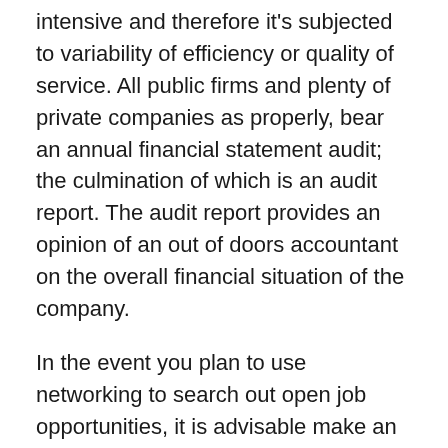intensive and therefore it's subjected to variability of efficiency or quality of service. All public firms and plenty of private companies as properly, bear an annual financial statement audit; the culmination of which is an audit report. The audit report provides an opinion of an out of doors accountant on the overall financial situation of the company.
In the event you plan to use networking to search out open job opportunities, it is advisable make an effort to grow and improve the group of people in the monetary industry that you just continuously join with. You most likely have colleagues who are able to connect you with skilled associates and job interviews, or maybe others that can assist discover extra connections. Develop a timetable to succeed in out on a regular basis … Read the rest